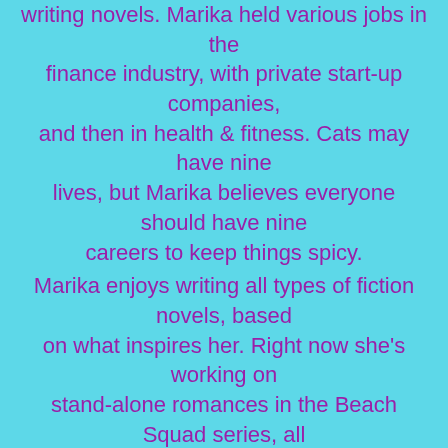Writing novels. Marika held various jobs in the finance industry, with private start-up companies, and then in health & fitness. Cats may have nine lives, but Marika believes everyone should have nine careers to keep things spicy. Marika enjoys writing all types of fiction novels, based on what inspires her. Right now she's working on stand-alone romances in the Beach Squad series, all about California lifeguards and their equally fearless women. Moderate suspense, a splash of humor, and lots of steamy romance…all with the beautiful ocean as a relaxing backdrop! If you'd like to join the Beach Squad, getting access to frequent sneak peeks and access to Handcuffed Hussy (a novella in the Beach Squad series), simply sign up here: http://eepurl.com/db7W6z More information can be found at http://www.marikaray.com